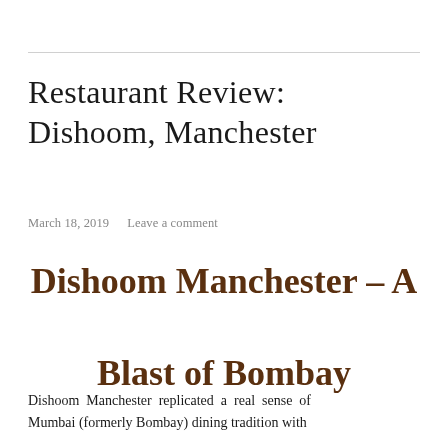Restaurant Review: Dishoom, Manchester
March 18, 2019    Leave a comment
Dishoom Manchester – A Blast of Bombay
Dishoom Manchester replicated a real sense of Mumbai (formerly Bombay) dining tradition with